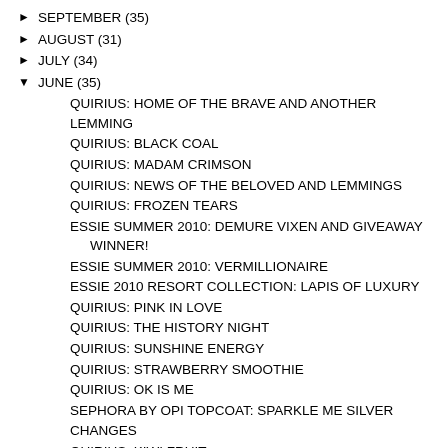► SEPTEMBER (35)
► AUGUST (31)
► JULY (34)
▼ JUNE (35)
QUIRIUS: HOME OF THE BRAVE AND ANOTHER LEMMING
QUIRIUS: BLACK COAL
QUIRIUS: MADAM CRIMSON
QUIRIUS: NEWS OF THE BELOVED AND LEMMINGS
QUIRIUS: FROZEN TEARS
ESSIE SUMMER 2010: DEMURE VIXEN AND GIVEAWAY WINNER!
ESSIE SUMMER 2010: VERMILLIONAIRE
ESSIE 2010 RESORT COLLECTION: LAPIS OF LUXURY
QUIRIUS: PINK IN LOVE
QUIRIUS: THE HISTORY NIGHT
QUIRIUS: SUNSHINE ENERGY
QUIRIUS: STRAWBERRY SMOOTHIE
QUIRIUS: OK IS ME
SEPHORA BY OPI TOPCOAT: SPARKLE ME SILVER
CHANGES
QUIRIUS: KIWI FRUIT
SALLY HANSEN HIDDEN TREASURE